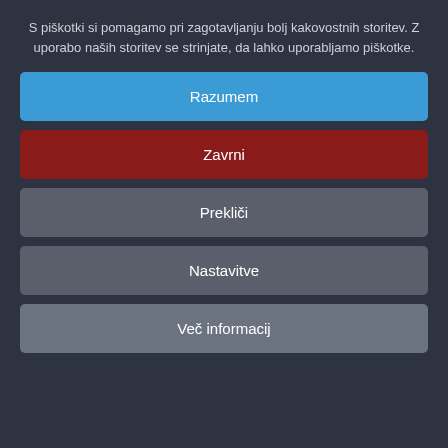S piškotki si pomagamo pri zagotavljanju bolj kakovostnih storitev. Z uporabo naših storitev se strinjate, da lahko uporabljamo piškotke.
Razumem
Zavrni
Prekliči
Nastavitve
Več informacij
Novice
Več
27 Junij 2022
Nadgradnja: Simple Shop v9.0.0.102
27 Junij 2022
Nadgradnja: Simple Shop v9.0.0.000